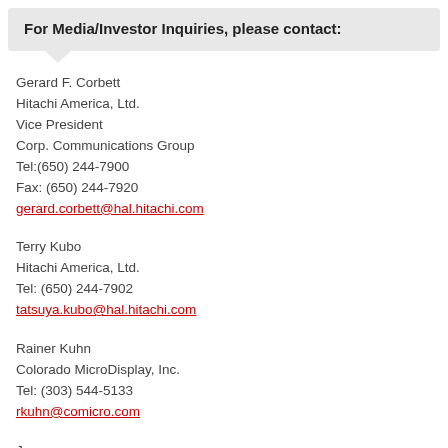For Media/Investor Inquiries, please contact:
Gerard F. Corbett
Hitachi America, Ltd.
Vice President
Corp. Communications Group
Tel:(650) 244-7900
Fax: (650) 244-7920
gerard.corbett@hal.hitachi.com
Terry Kubo
Hitachi America, Ltd.
Tel: (650) 244-7902
tatsuya.kubo@hal.hitachi.com
Rainer Kuhn
Colorado MicroDisplay, Inc.
Tel: (303) 544-5133
rkuhn@comicro.com
Japan: